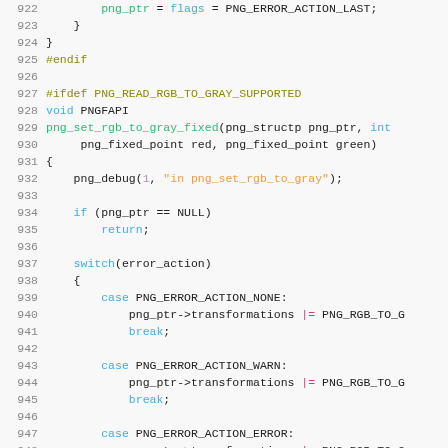[Figure (screenshot): Source code listing in C showing lines 922-952 of a PNG library file. Syntax-highlighted code editor view with line numbers, showing preprocessor directives, function declaration for png_set_rgb_to_gray_fixed, and a switch statement handling PNG_ERROR_ACTION_NONE, PNG_ERROR_ACTION_WARN, PNG_ERROR_ACTION_ERROR, and default cases.]